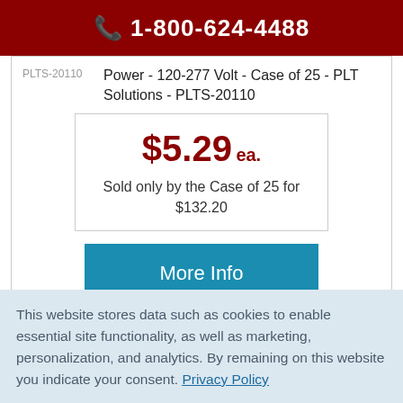1-800-624-4488
PLTS-20110
Power - 120-277 Volt - Case of 25 - PLT Solutions - PLTS-20110
$5.29 ea.
Sold only by the Case of 25 for $132.20
More Info
This website stores data such as cookies to enable essential site functionality, as well as marketing, personalization, and analytics. By remaining on this website you indicate your consent. Privacy Policy